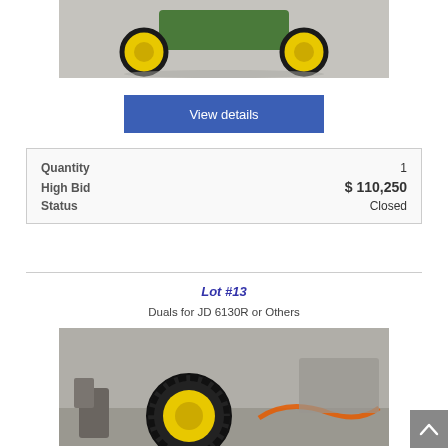[Figure (photo): Partial view of a John Deere tractor from front showing yellow wheels and green body on pavement]
View details
| Quantity | 1 |
| High Bid | $ 110,250 |
| Status | Closed |
Lot #13
Duals for JD 6130R or Others
[Figure (photo): Agricultural tires/duals with yellow rims on the ground, orange hose visible in background]